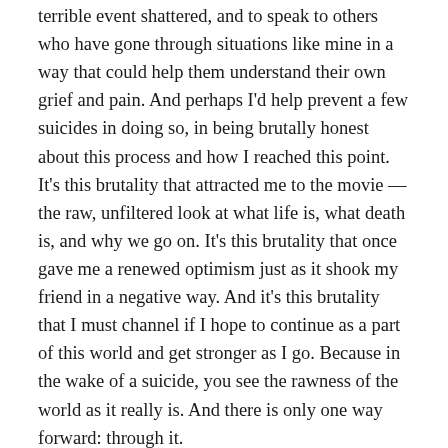terrible event shattered, and to speak to others who have gone through situations like mine in a way that could help them understand their own grief and pain. And perhaps I'd help prevent a few suicides in doing so, in being brutally honest about this process and how I reached this point. It's this brutality that attracted me to the movie — the raw, unfiltered look at what life is, what death is, and why we go on. It's this brutality that once gave me a renewed optimism just as it shook my friend in a negative way. And it's this brutality that I must channel if I hope to continue as a part of this world and get stronger as I go. Because in the wake of a suicide, you see the rawness of the world as it really is. And there is only one way forward: through it.
How quickly did you decide on your subject?